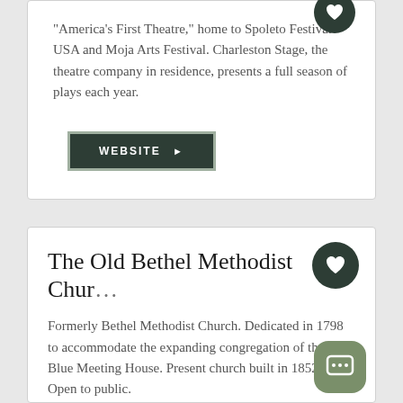“America’s First Theatre,” home to Spoleto Festival USA and Moja Arts Festival. Charleston Stage, the theatre company in residence, presents a full season of plays each year.
WEBSITE ►
The Old Bethel Methodist Chur…
Formerly Bethel Methodist Church. Dedicated in 1798 to accommodate the expanding congregation of the Blue Meeting House. Present church built in 1852. Open to public.